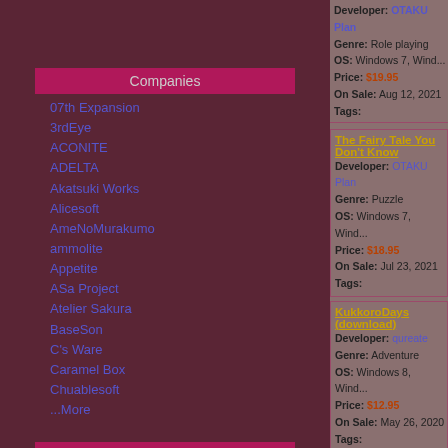Companies
07th Expansion
3rdEye
ACONITE
ADELTA
Akatsuki Works
Alicesoft
AmeNoMurakumo
ammolite
Appetite
ASa Project
Atelier Sakura
BaseSon
C's Ware
Caramel Box
Chuablesoft
...More
Latest Review
Kinkoi: Golden Time (download)
A wonderful follow up on the awesome original, if
Developer: OTAKU Plan
Genre: Role playing
OS: Windows 7, Wind...
Price: $19.95
On Sale: Aug 12, 2021
Tags:
The Fairy Tale You Don't Know
Developer: OTAKU Plan
Genre: Puzzle
OS: Windows 7, Wind...
Price: $18.95
On Sale: Jul 23, 2021
Tags:
KukkoroDays (download)
Developer: qureate
Genre: Adventure
OS: Windows 8, Wind...
Price: $12.95
On Sale: May 26, 2020
Tags:
CUSTOM ORDER MAID 3D2 (d...
Developer: KISS
Genre: VR
OS: Windows 7, Wind...
Price: $45.00